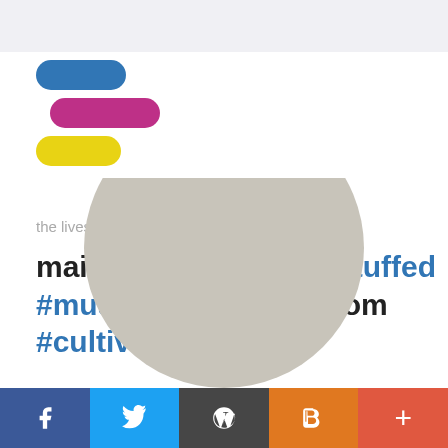[Figure (logo): Three staggered rounded pill/capsule shapes in blue, pink/magenta, and yellow, forming a logo]
the livestock & mushroom patch
maitake mushroom #stuffed #mushrooms mushroom #cultivation
[Figure (photo): Large circle/semicircle shape in beige/tan color, likely a cropped mushroom photo]
Social share bar: Facebook, Twitter, WordPress, Blogger, Plus